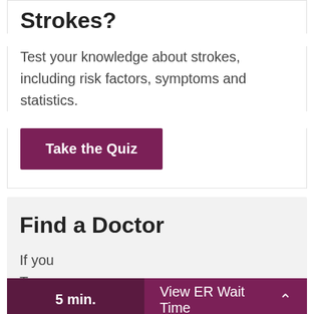Strokes?
Test your knowledge about strokes, including risk factors, symptoms and statistics.
Take the Quiz
Find a Doctor
If you Temed
5 min.   View ER Wait Time